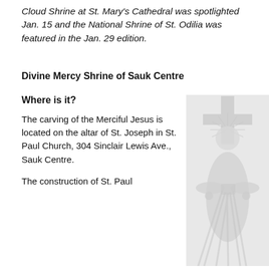Cloud Shrine at St. Mary's Cathedral was spotlighted Jan. 15 and the National Shrine of St. Odilia was featured in the Jan. 29 edition.
Divine Mercy Shrine of Sauk Centre
Where is it?
The carving of the Merciful Jesus is located on the altar of St. Joseph in St. Paul Church, 304 Sinclair Lewis Ave., Sauk Centre.
The construction of St. Paul
[Figure (illustration): Religious illustration of the Divine Mercy image — Jesus Christ with rays of light emanating from his chest, overlaid on a cross, in a light grey/white tone.]